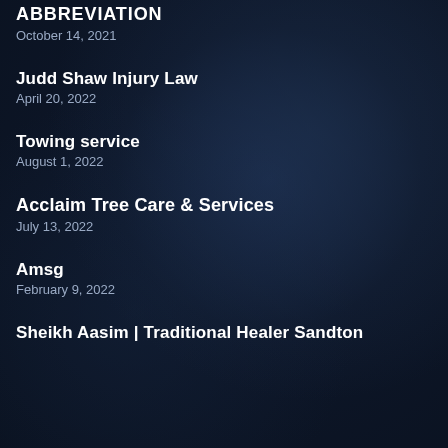ABBREVIATION
October 14, 2021
Judd Shaw Injury Law
April 20, 2022
Towing service
August 1, 2022
Acclaim Tree Care & Services
July 13, 2022
Amsg
February 9, 2022
Sheikh Aasim | Traditional Healer Sandton